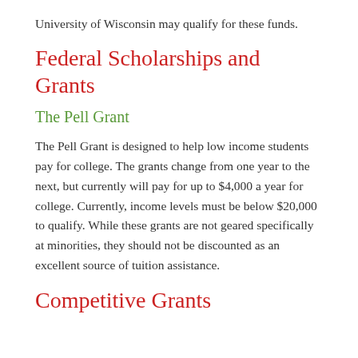University of Wisconsin may qualify for these funds.
Federal Scholarships and Grants
The Pell Grant
The Pell Grant is designed to help low income students pay for college. The grants change from one year to the next, but currently will pay for up to $4,000 a year for college. Currently, income levels must be below $20,000 to qualify. While these grants are not geared specifically at minorities, they should not be discounted as an excellent source of tuition assistance.
Competitive Grants